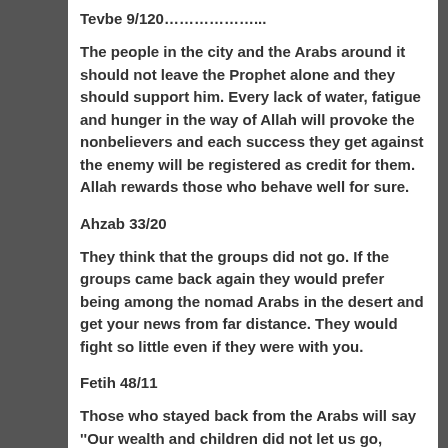Tevbe 9/120………………..
The people in the city and the Arabs around it should not leave the Prophet alone and they should support him. Every lack of water, fatigue and hunger in the way of Allah will provoke the nonbelievers and each success they get against the enemy will be registered as credit for them. Allah rewards those who behave well for sure.
Ahzab 33/20
They think that the groups did not go. If the groups came back again they would prefer being among the nomad Arabs in the desert and get your news from far distance. They would fight so little even if they were with you.
Fetih 48/11
Those who stayed back from the Arabs will say ''Our wealth and children did not let us go, please ask for forgiveness for us''. Tell them ''If